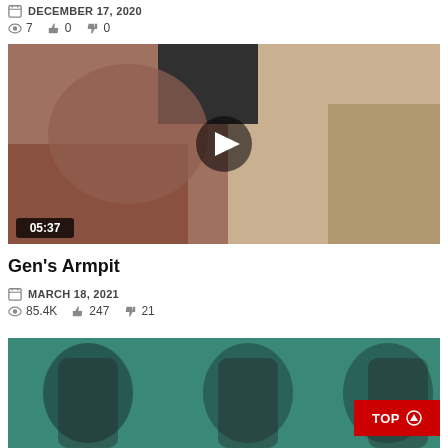DECEMBER 17, 2020  👁 7  👍 0  👎 0
[Figure (screenshot): Video thumbnail showing a person, with a play button overlay and duration label 05:37 in the bottom left corner.]
Gen's Armpit
MARCH 18, 2021  👁 85.4K  👍 247  👎 21
[Figure (screenshot): Partial video thumbnail showing people, bottom portion of the page.]